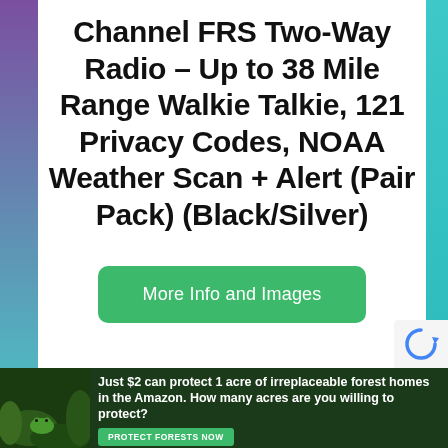Channel FRS Two-Way Radio – Up to 38 Mile Range Walkie Talkie, 121 Privacy Codes, NOAA Weather Scan + Alert (Pair Pack) (Black/Silver)
[Figure (other): Green rounded rectangle button with text 'More Info and Images']
[Figure (other): reCAPTCHA badge in bottom right corner with blue refresh arrow icon]
[Figure (other): Advertisement banner at bottom: forest/Amazon image with frog on left, text 'Just $2 can protect 1 acre of irreplaceable forest homes in the Amazon. How many acres are you willing to protect?' and green 'PROTECT FORESTS NOW' button]